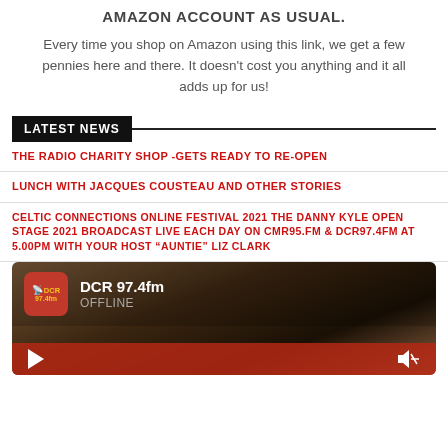AMAZON ACCOUNT AS USUAL.
Every time you shop on Amazon using this link, we get a few pennies here and there. It doesn't cost you anything and it all adds up for us!
LATEST NEWS
THE RADIO CHARITY SHOP -GETS READY TO RE-OPEN
LUNCH WITH JACQUES COUSTEAU AND OTHER STORIES
CELTIC CONNECTIONS ONLINE FESTIVAL 2021 THE DANNY KYLE OPEN STAGE 2021 BROADCAST LIVE EACH DAY ON CMR95.FM & DCR97.4FM AT 5.00PM WITH YOUR HOST "AUNTIE" LIZ CLARK
[Figure (screenshot): DCR 97.4fm radio player widget showing logo, station name, OFFLINE status, play button and volume control on a dark sunset background]